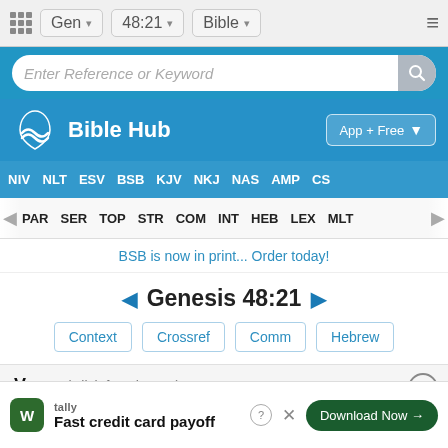Gen  48:21  Bible
Enter Reference or Keyword
[Figure (screenshot): Bible Hub logo with wave icon and App + Free download button]
NIV  NLT  ESV  BSB  KJV  NKJ  NAS  AMP  CS
PAR  SER  TOP  STR  COM  INT  HEB  LEX  MLT
BSB is now in print... Order today!
Genesis 48:21
Context  Crossref  Comm  Hebrew
Verse (Click for Chapter)
New
Then
tally Fast credit card payoff  Download Now →